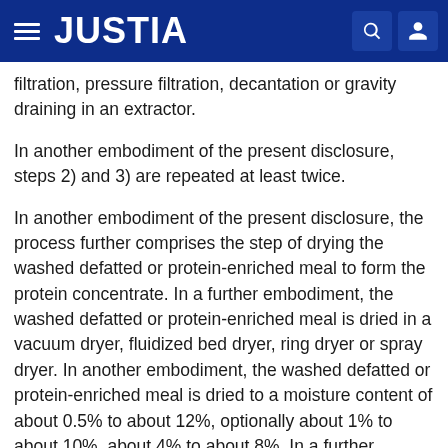JUSTIA
filtration, pressure filtration, decantation or gravity draining in an extractor.
In another embodiment of the present disclosure, steps 2) and 3) are repeated at least twice.
In another embodiment of the present disclosure, the process further comprises the step of drying the washed defatted or protein-enriched meal to form the protein concentrate. In a further embodiment, the washed defatted or protein-enriched meal is dried in a vacuum dryer, fluidized bed dryer, ring dryer or spray dryer. In another embodiment, the washed defatted or protein-enriched meal is dried to a moisture content of about 0.5% to about 12%, optionally about 1% to about 10%, about 4% to about 8%. In a further embodiment, the washed defatted or protein-enriched meal is dried to a moisture content of about 6%